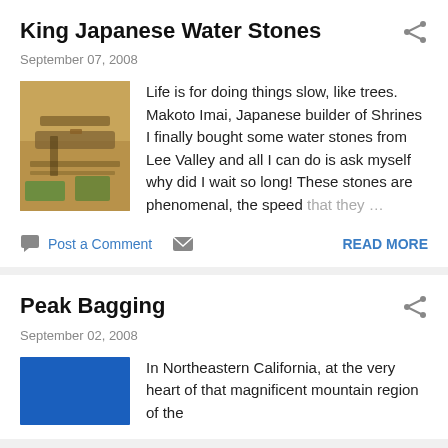King Japanese Water Stones
September 07, 2008
[Figure (photo): Woodworking tools and wood shavings on a workbench]
Life is for doing things slow, like trees. Makoto Imai, Japanese builder of Shrines I finally bought some water stones from Lee Valley and all I can do is ask myself why did I wait so long! These stones are phenomenal, the speed that they …
Post a Comment
READ MORE
Peak Bagging
September 02, 2008
[Figure (photo): Blue image - mountain/outdoor scene]
In Northeastern California, at the very heart of that magnificent mountain region of the